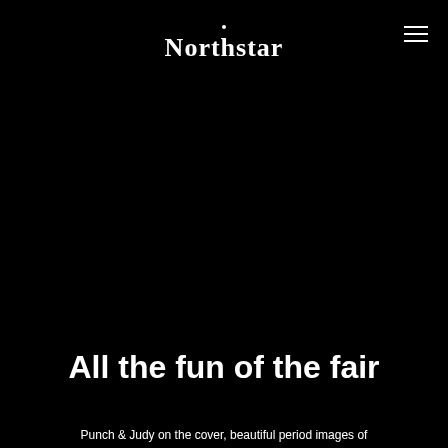Northstar
All the fun of the fair
Punch & Judy on the cover, beautiful period images of